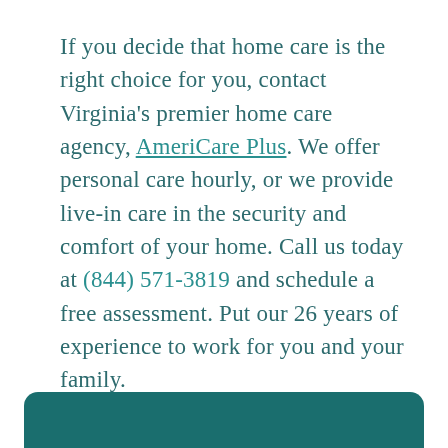If you decide that home care is the right choice for you, contact Virginia's premier home care agency, AmeriCare Plus. We offer personal care hourly, or we provide live-in care in the security and comfort of your home. Call us today at (844) 571-3819 and schedule a free assessment. Put our 26 years of experience to work for you and your family.